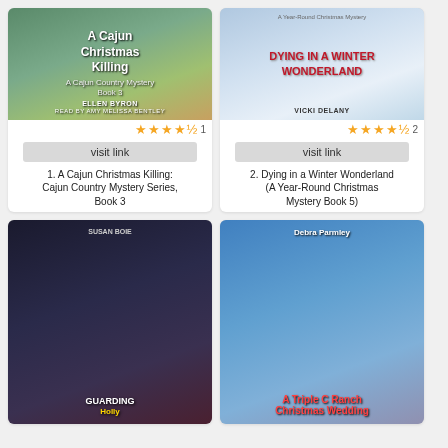[Figure (photo): Book cover: A Cajun Christmas Killing by Ellen Byron, audiobook with basset hound on porch with Christmas decorations]
★★★★½ 1
visit link
1. A Cajun Christmas Killing: Cajun Country Mystery Series, Book 3
[Figure (photo): Book cover: Dying in a Winter Wonderland by Vicki Delany, A Year-Round Christmas Mystery, showing dog in snow scene]
★★★★½ 2
visit link
2. Dying in a Winter Wonderland (A Year-Round Christmas Mystery Book 5)
[Figure (photo): Book cover: Guarding Holly (or similar) by Susan Boie, showing couple and dog with holiday theme]
[Figure (photo): Book cover: A Triple C Ranch Christmas Wedding by Debra Parmley, showing couple about to kiss with holiday bouquet]